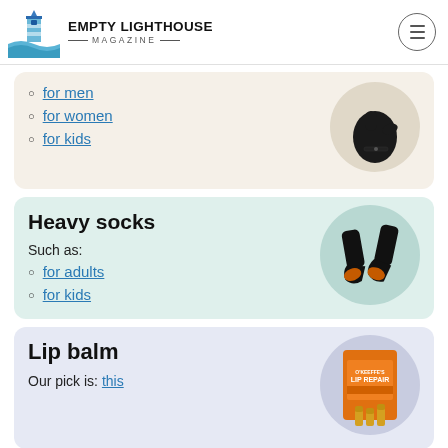Empty Lighthouse Magazine
for men
for women
for kids
[Figure (photo): Black insulated winter gloves/mittens on cream background circle]
Heavy socks
Such as:
for adults
for kids
[Figure (photo): Two black heated socks with orange sole detail on mint background circle]
Lip balm
Our pick is: this
[Figure (photo): O'Keeffe's Lip Repair lip balm sticks in orange packaging on lavender background circle]